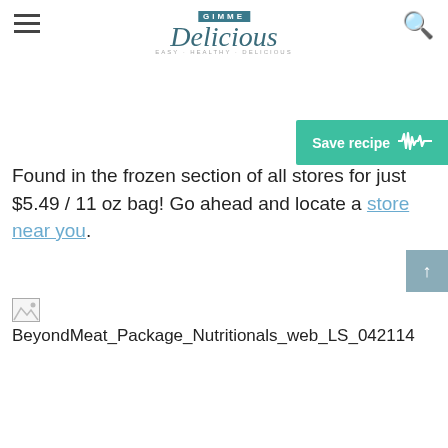Gimme Delicious — EASY · HEALTHY · DELICIOUS
Save recipe
Found in the frozen section of all stores for just $5.49 / 11 oz bag! Go ahead and locate a store near you.
[Figure (other): Broken image placeholder for BeyondMeat_Package_Nutritionals_web_LS_042114]
BeyondMeat_Package_Nutritionals_web_LS_042114